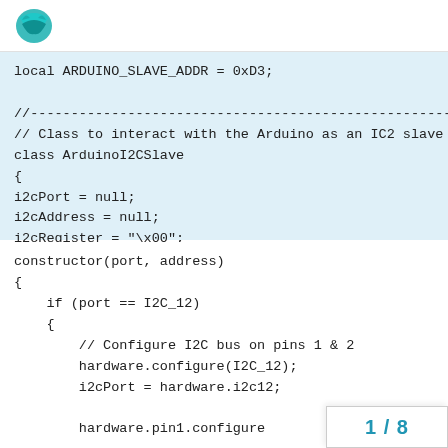local ARDUINO_SLAVE_ADDR = 0xD3;

//------------------------------------------------------------------------
// Class to interact with the Arduino as an IC2 slave device
class ArduinoI2CSlave
{
i2cPort = null;
i2cAddress = null;
i2cRegister = "\x00";
constructor(port, address)
{
    if (port == I2C_12)
    {
        // Configure I2C bus on pins 1 & 2
        hardware.configure(I2C_12);
        i2cPort = hardware.i2c12;

        hardware.pin1.configure
1 / 8